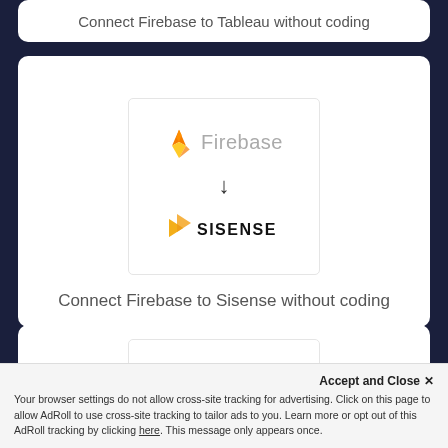Connect Firebase to Tableau without coding
[Figure (infographic): Firebase logo with flame icon and arrow pointing down to Sisense logo inside a white bordered box]
Connect Firebase to Sisense without coding
[Figure (infographic): Firebase logo with flame icon and arrow pointing down, partially visible in bottom card]
Accept and Close ✕
Your browser settings do not allow cross-site tracking for advertising. Click on this page to allow AdRoll to use cross-site tracking to tailor ads to you. Learn more or opt out of this AdRoll tracking by clicking here. This message only appears once.